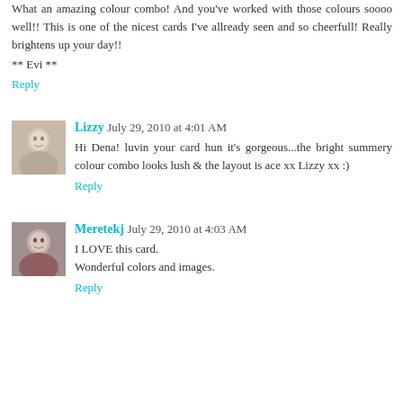What an amazing colour combo! And you've worked with those colours soooo well!! This is one of the nicest cards I've allready seen and so cheerfull! Really brightens up your day!!
** Evi **
Reply
Lizzy  July 29, 2010 at 4:01 AM
Hi Dena! luvin your card hun it's gorgeous...the bright summery colour combo looks lush & the layout is ace xx Lizzy xx :)
Reply
Meretekj  July 29, 2010 at 4:03 AM
I LOVE this card.
Wonderful colors and images.
Reply